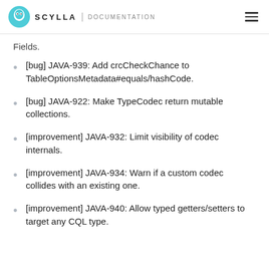SCYLLA | DOCUMENTATION
Fields.
[bug] JAVA-939: Add crcCheckChance to TableOptionsMetadata#equals/hashCode.
[bug] JAVA-922: Make TypeCodec return mutable collections.
[improvement] JAVA-932: Limit visibility of codec internals.
[improvement] JAVA-934: Warn if a custom codec collides with an existing one.
[improvement] JAVA-940: Allow typed getters/setters to target any CQL type.